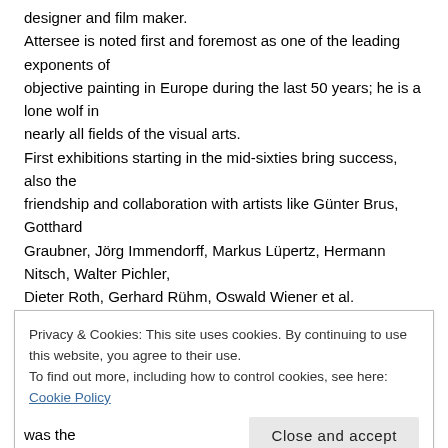designer and film maker.
Attersee is noted first and foremost as one of the leading exponents of objective painting in Europe during the last 50 years; he is a lone wolf in nearly all fields of the visual arts.
First exhibitions starting in the mid-sixties bring success, also the friendship and collaboration with artists like Günter Brus, Gotthard Graubner, Jörg Immendorff, Markus Lüpertz, Hermann Nitsch, Walter Pichler,
Dieter Roth, Gerhard Rühm, Oswald Wiener et al.
Ever since Attersee's first objective inventions (1964-66) in the sphere of eroticism and everyday he has been appraised as an independent
Privacy & Cookies: This site uses cookies. By continuing to use this website, you agree to their use.
To find out more, including how to control cookies, see here: Cookie Policy
Close and accept
was the